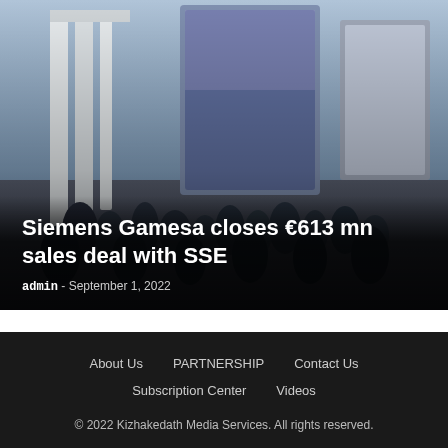[Figure (photo): Exhibition hall / trade show booth photo, dark toned, showing crowds and display panels. Overlaid with article headline and byline.]
Siemens Gamesa closes €613 mn sales deal with SSE
admin - September 1, 2022
About Us  PARTNERSHIP  Contact Us  Subscription Center  Videos
© 2022 Kizhakedath Media Services. All rights reserved.